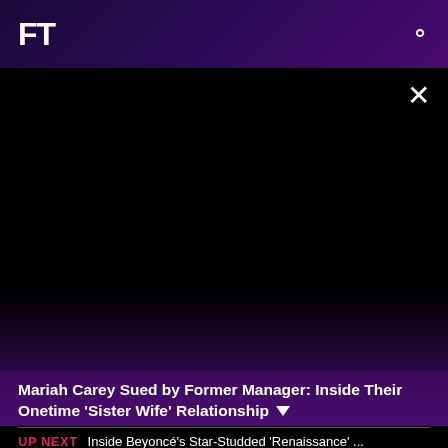FT
[Figure (screenshot): Black video player area with close (×) button in top-right corner]
Mariah Carey Sued by Former Manager: Inside Their Onetime 'Sister Wife' Relationship ▼
UP NEXT  Inside Beyoncé's Star-Studded 'Renaissance' ...